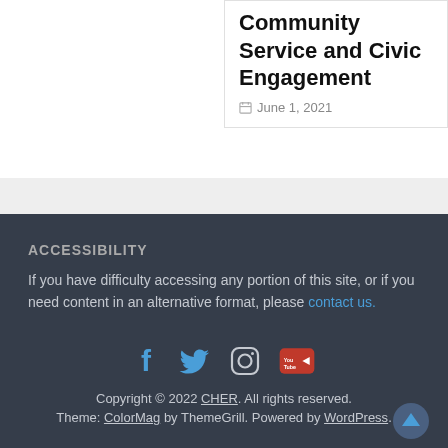Community Service and Civic Engagement
June 1, 2021
ACCESSIBILITY
If you have difficulty accessing any portion of this site, or if you need content in an alternative format, please contact us.
[Figure (illustration): Social media icons: Facebook, Twitter, Instagram, YouTube]
Copyright © 2022 CHER. All rights reserved. Theme: ColorMag by ThemeGrill. Powered by WordPress.